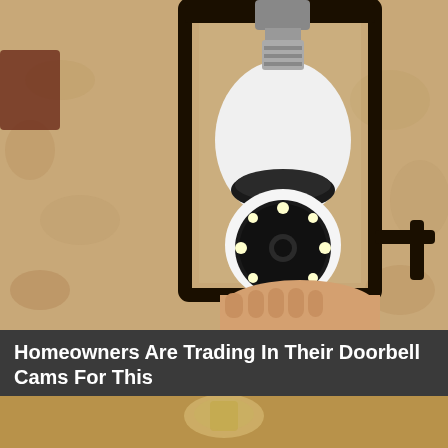[Figure (photo): Close-up photo of a person installing a white smart security camera bulb into a black outdoor lantern light fixture mounted on a textured beige stucco wall. The camera bulb has a circular array of LED lights on the front face.]
Homeowners Are Trading In Their Doorbell Cams For This
Camerca
Learn More
[Figure (photo): Partial view of another image at bottom, showing the top of a metallic object on a tan/brown background.]